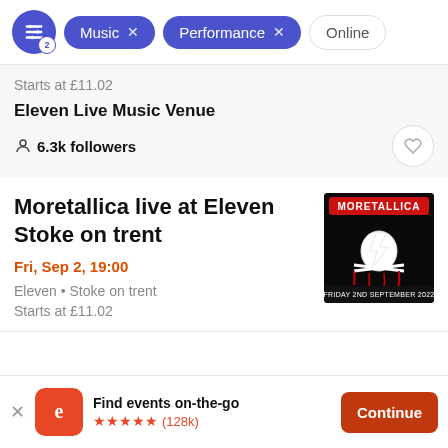[Figure (screenshot): Filter bar with settings icon (badge 2), 'Music x' chip, 'Performance x' chip, 'Online' outline chip]
Starts at £11.02
Eleven Live Music Venue
6.3k followers
Moretallica live at Eleven Stoke on trent
Fri, Sep 2, 19:00
Eleven • Stoke on trent
Starts at £11.02
[Figure (photo): Moretallica band poster: white skull/lightning bolt graphic on black background, red text 'MORETALLICA' at top, red drips, text at bottom 'FRIDAY 2ND SEPTEMBER 2022']
Find events on-the-go
★★★★★ (128k)
Continue